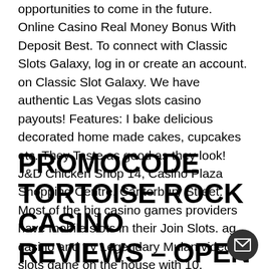opportunities to come in the future. Online Casino Real Money Bonus With Deposit Best. To connect with Classic Slots Galaxy, log in or create an account. on Classic Slot Galaxy. We have authentic Las Vegas slots casino payouts! Features: I bake delicious decorated home made cakes, cupcakes etc. They Taste as good as they look! J&D Chicken Shop 14, Casino Plaza Shopping Centre, Canterbury Street. Most of the big casino games providers have mobile slots in their Join Slots. ag casino and try Legendary Mulan video slots game on the house with 10.
PROMOCODE TORTOISE ROCK CASINO REVIEWS – OPEN A SLOT ROOM: ALL YOU NEED TO SLOT